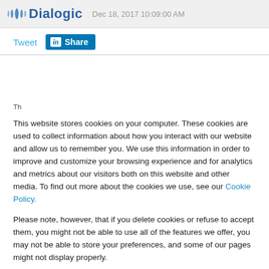Dialogic — Dec 18, 2017 10:09:00 AM
Tweet  Share
This website stores cookies on your computer. These cookies are used to collect information about how you interact with our website and allow us to remember you. We use this information in order to improve and customize your browsing experience and for analytics and metrics about our visitors both on this website and other media. To find out more about the cookies we use, see our Cookie Policy.
Please note, however, that if you delete cookies or refuse to accept them, you might not be able to use all of the features we offer, you may not be able to store your preferences, and some of our pages might not display properly.
Accept   Decline